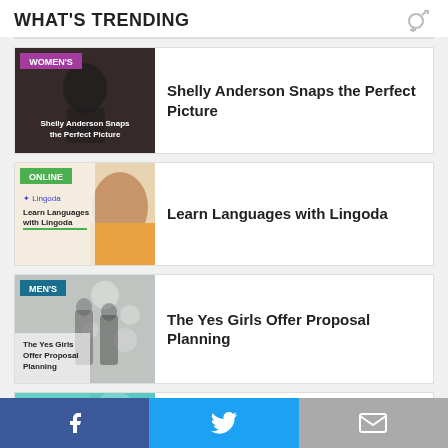WHAT'S TRENDING
[Figure (illustration): Thumbnail for Women's article: dark cinematic image with 'WOMEN'S' pink label and caption 'Shelly Anderson Snaps the Perfect Picture']
Shelly Anderson Snaps the Perfect Picture
[Figure (illustration): Thumbnail for Online article: Lingoda language learning image with woman and 'ONLINE' green label]
Learn Languages with Lingoda
[Figure (illustration): Thumbnail for Men's article: 'MEN'S' teal label, image of couple with lights, caption 'The Yes Girls Offer Proposal Planning']
The Yes Girls Offer Proposal Planning
[Figure (illustration): Thumbnail for Online article: FaceTec teal background with woman, 'ONLINE' green label]
FaceTec Adds Trust in Matches with Bot Detection
Facebook | Twitter | Email sharing bar